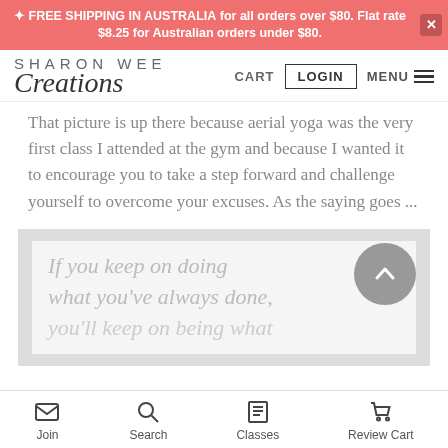✦ FREE SHIPPING IN AUSTRALIA for all orders over $80. Flat rate $8.25 for Australian orders under $80.
SHARON WEE Creations
That picture is up there because aerial yoga was the very first class I attended at the gym and because I wanted it to encourage you to take a step forward and challenge yourself to overcome your excuses. As the saying goes ...
[Figure (illustration): Motivational quote image reading: If you keep on doing what you've always done, you'll keep on being what...]
Join   Search   Classes   Review Cart